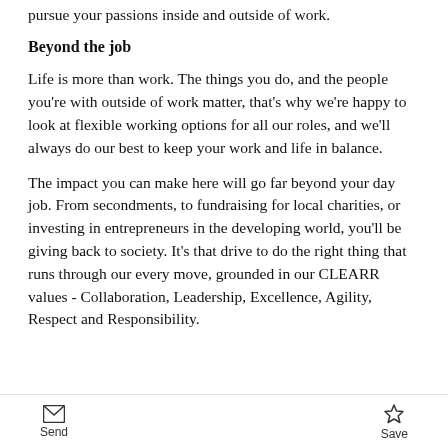pursue your passions inside and outside of work.
Beyond the job
Life is more than work. The things you do, and the people you're with outside of work matter, that's why we're happy to look at flexible working options for all our roles, and we'll always do our best to keep your work and life in balance.
The impact you can make here will go far beyond your day job. From secondments, to fundraising for local charities, or investing in entrepreneurs in the developing world, you'll be giving back to society. It's that drive to do the right thing that runs through our every move, grounded in our CLEARR values - Collaboration, Leadership, Excellence, Agility, Respect and Responsibility.
Send   Save